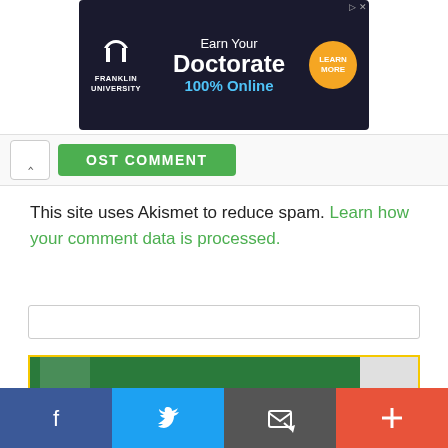[Figure (screenshot): Franklin University advertisement banner: dark navy background with Franklin University logo (arch icon), text 'Earn Your Doctorate 100% Online', orange circular 'LEARN MORE' button, and ad close icon in top right.]
[Figure (screenshot): Partial post comment UI: up-caret button and green 'POST COMMENT' button.]
This site uses Akismet to reduce spam. Learn how your comment data is processed.
[Figure (screenshot): Search bar input field (empty).]
[Figure (screenshot): Article preview box with yellow border, green background, partial image visible.]
[Figure (screenshot): Social sharing bar at bottom: Facebook (blue), Twitter (light blue), Email (dark gray), Plus/More (orange-red) buttons.]